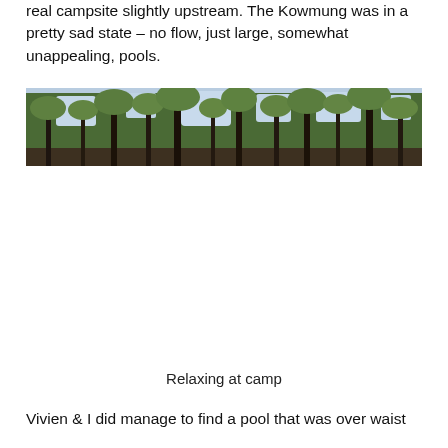real campsite slightly upstream. The Kowmung was in a pretty sad state – no flow, just large, somewhat unappealing, pools.
[Figure (photo): Panoramic photo of forest trees with green foliage and dark trunks against a bright sky]
Relaxing at camp
Vivien & I did manage to find a pool that was over waist